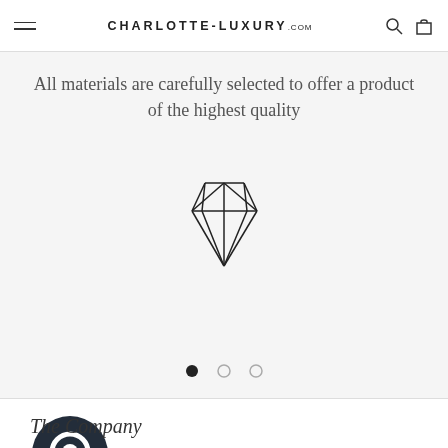CHARLOTTE-LUXURY.com
All materials are carefully selected to offer a product of the highest quality
[Figure (illustration): Diamond gem icon outline illustration]
[Figure (illustration): Three pagination dots, first filled black, second and third outlined]
[Figure (logo): Dark circular chat bubble company logo icon]
The Company